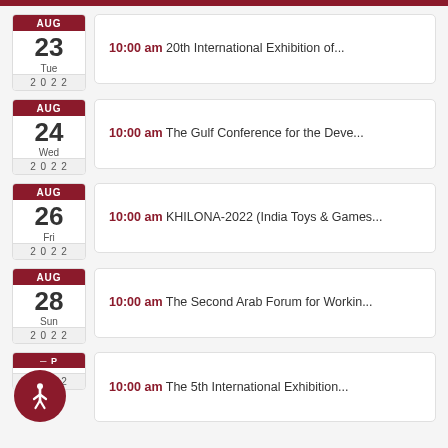AUG 23 Tue 2022 — 10:00 am 20th International Exhibition of...
AUG 24 Wed 2022 — 10:00 am The Gulf Conference for the Deve...
AUG 26 Fri 2022 — 10:00 am KHILONA-2022 (India Toys & Games...
AUG 28 Sun 2022 — 10:00 am The Second Arab Forum for Workin...
SEP — 2022 — 10:00 am The 5th International Exhibition...